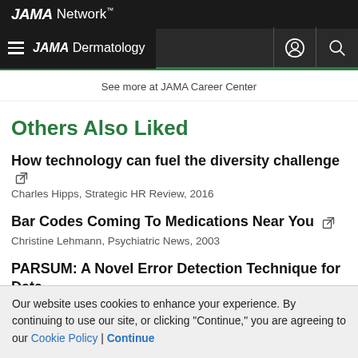JAMA Network
JAMA Dermatology
See more at JAMA Career Center
Others Also Liked
How technology can fuel the diversity challenge
Charles Hipps, Strategic HR Review, 2016
Bar Codes Coming To Medications Near You
Christine Lehmann, Psychiatric News, 2003
PARSUM: A Novel Error Detection Technique for Data
Our website uses cookies to enhance your experience. By continuing to use our site, or clicking "Continue," you are agreeing to our Cookie Policy | Continue